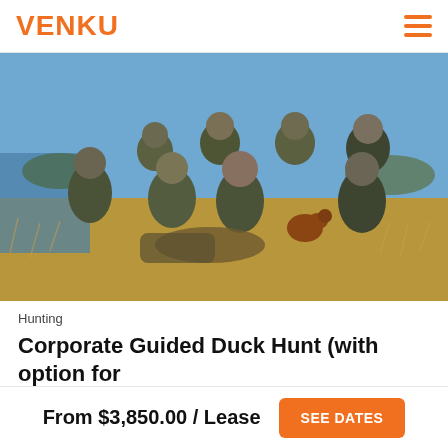VENKU
[Figure (photo): Group of hunters in camouflage gear posing outdoors near a body of water with a brown dog, on a grassy field under a blue sky.]
Hunting
Corporate Guided Duck Hunt (with option for Fly Fishing)
From $3,850.00 / Lease
SEE DATES